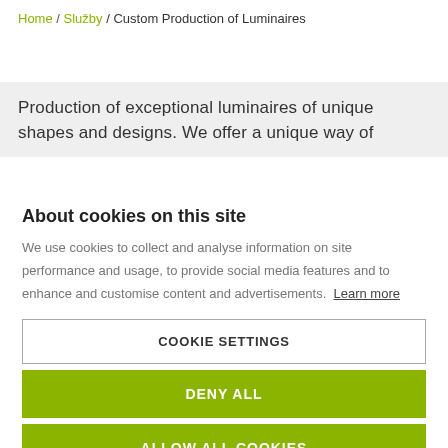Home / Služby / Custom Production of Luminaires
Production of exceptional luminaires of unique shapes and designs. We offer a unique way of
About cookies on this site
We use cookies to collect and analyse information on site performance and usage, to provide social media features and to enhance and customise content and advertisements. Learn more
COOKIE SETTINGS
DENY ALL
ALLOW ALL COOKIES